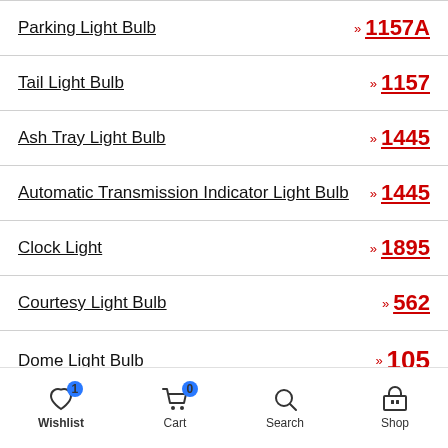Parking Light Bulb » 1157A
Tail Light Bulb » 1157
Ash Tray Light Bulb » 1445
Automatic Transmission Indicator Light Bulb » 1445
Clock Light » 1895
Courtesy Light Bulb » 562
Dome Light Bulb » 105
Wishlist  Cart  Search  Shop